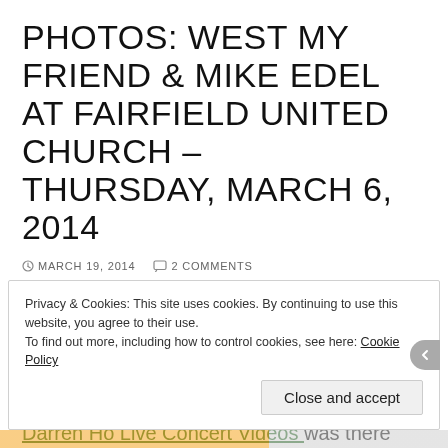PHOTOS: WEST MY FRIEND & MIKE EDEL AT FAIRFIELD UNITED CHURCH – THURSDAY, MARCH 6, 2014
MARCH 19, 2014   2 COMMENTS
Photos from West My Friend's Album Release Show for their new album, 'When the Ink Dries' with Mike Edel at Fairfield United Church in Victoria, BC on Thursday, March 6, 2014.
Darren Ho Live Concert Videos was there and took photos.
Privacy & Cookies: This site uses cookies. By continuing to use this website, you agree to their use.
To find out more, including how to control cookies, see here: Cookie Policy